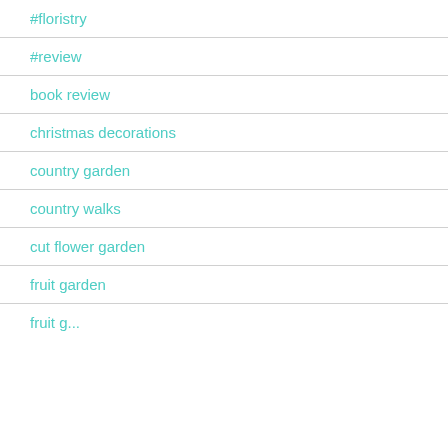#floristry
#review
book review
christmas decorations
country garden
country walks
cut flower garden
fruit garden
fruit garden (partial)